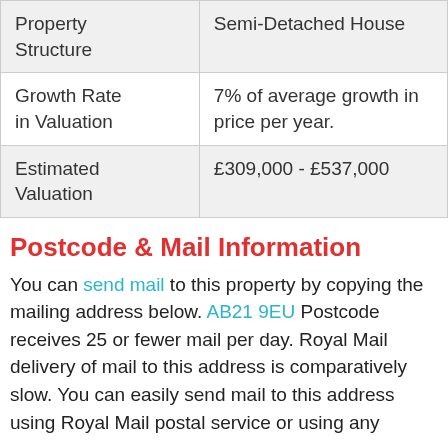| Property Structure | Semi-Detached House |
| Growth Rate in Valuation | 7% of average growth in price per year. |
| Estimated Valuation | £309,000 - £537,000 |
Postcode & Mail Information
You can send mail to this property by copying the mailing address below. AB21 9EU Postcode receives 25 or fewer mail per day. Royal Mail delivery of mail to this address is comparatively slow. You can easily send mail to this address using Royal Mail postal service or using any